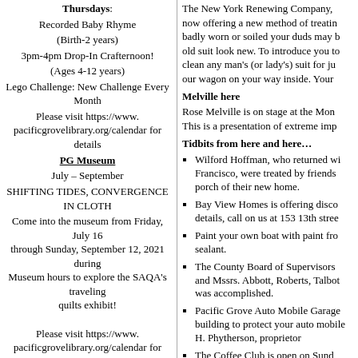Thursdays:
Recorded Baby Rhyme
(Birth-2 years)
3pm-4pm Drop-In Crafternoon!
(Ages 4-12 years)
Lego Challenge: New Challenge Every Month
Please visit https://www.pacificgrovelibrary.org/calendar for details
PG Museum
July – September
SHIFTING TIDES, CONVERGENCE IN CLOTH
Come into the museum from Friday, July 16 through Sunday, September 12, 2021 during Museum hours to explore the SAQA's traveling quilts exhibit!
Please visit https://www.pacificgrovelibrary.org/calendar for details.
The New York Renewing Company, now offering a new method of treating badly worn or soiled your duds may be old suit look new. To introduce you to clean any man's (or lady's) suit for ju our wagon on your way inside. Your
Melville here
Rose Melville is on stage at the Mon This is a presentation of extreme imp
Tidbits from here and here…
Wilford Hoffman, who returned wi Francisco, were treated by friends porch of their new home.
Bay View Homes is offering disco details, call on us at 153 13th stree
Paint your own boat with paint fro sealant.
The County Board of Supervisors and Mssrs. Abbott, Roberts, Talbot was accomplished.
Pacific Grove Auto Mobile Garage building to protect your auto mobile H. Phytherson, proprietor
The Coffee Club is open on Sund
Mrs. N. R. Burlingame is planning several weeks.
Mrs. M. W. Mathey and daughter weeks.
And the rest is…